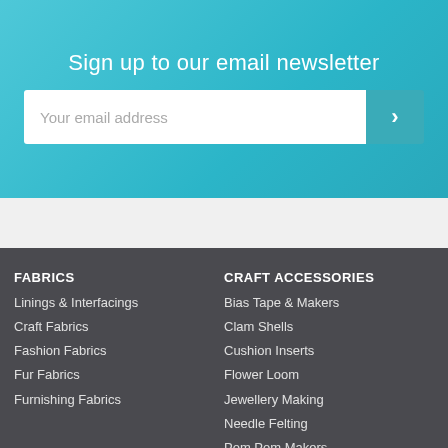Sign up to our email newsletter
[Figure (screenshot): Email newsletter signup form with text input field and submit arrow button]
FABRICS
Linings & Interfacings
Craft Fabrics
Fashion Fabrics
Fur Fabrics
Furnishing Fabrics
CRAFT ACCESSORIES
Bias Tape & Makers
Clam Shells
Cushion Inserts
Flower Loom
Jewellery Making
Needle Felting
Pom Pom Makers
Rulers
Storage Boxes